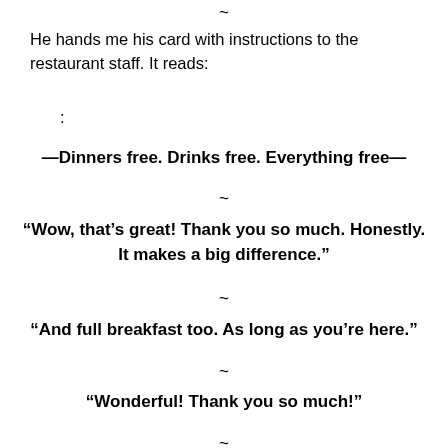~
He hands me his card with instructions to the restaurant staff. It reads:
:
—Dinners free. Drinks free. Everything free—
~
“Wow, that’s great! Thank you so much. Honestly. It makes a big difference.”
~
“And full breakfast too. As long as you’re here.”
~
“Wonderful! Thank you so much!”
~